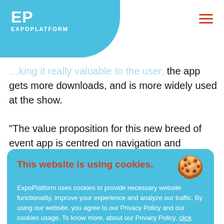EP EXPOPLATFORM
…king it really valuable to the user, the app gets more downloads, and is more widely used at the show.
“The value proposition for this new breed of event app is centred on navigation and discovery: helping visitors do more at the show, meet more exhibitors, get to where they want to on time, or realise that something is there they’re interested in there.
“Our solution is thoroughly integrated, so you actually value all the data you are gathering. They can monitor and measure footfall across the whole event electronically rather than relying on engagements which is typically what you get from scanning or RFID.
[Figure (other): Cookie consent banner overlay with title 'This website is using cookies.', cookie emoji, body text about ExpoPlatform cookies and privacy policy, and an 'I accept' button.]